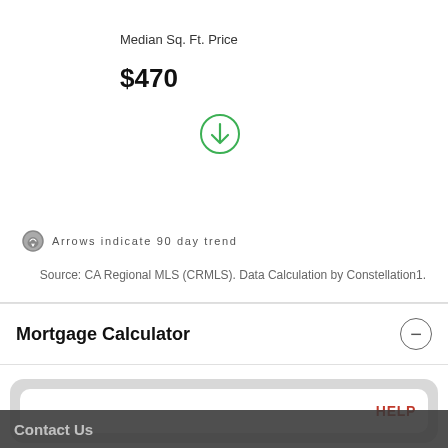Median Sq. Ft. Price
$470
[Figure (illustration): Green circle with a downward arrow icon indicating a declining 90-day trend]
Arrows indicate 90 day trend
Source: CA Regional MLS (CRMLS). Data Calculation by Constellation1.
Mortgage Calculator
HELP
Contact Us